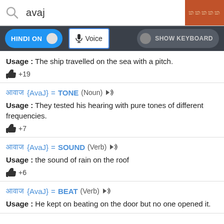[Figure (screenshot): Search bar with 'avaj' typed, orange search button with Hindi text]
[Figure (screenshot): Dark controls bar with HINDI ON toggle, Voice button, SHOW KEYBOARD button]
Usage : The ship travelled on the sea with a pitch.
+19
आवाज {AvaJ} = TONE (Noun)
Usage : They tested his hearing with pure tones of different frequencies.
+7
आवाज {AvaJ} = SOUND (Verb)
Usage : the sound of rain on the roof
+6
आवाज {AvaJ} = BEAT (Verb)
Usage : He kept on beating on the door but no one opened it.